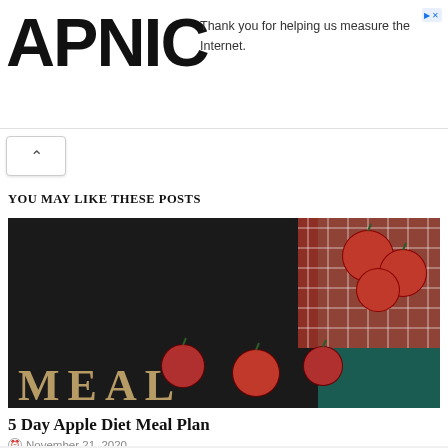APNIC — Thank you for helping us measure the Internet.
YOU MAY LIKE THESE POSTS
[Figure (photo): Food photo showing red apples on a dark teal background with a red and white checkered cloth, and large text 'MEAL' at the bottom]
5 Day Apple Diet Meal Plan
November 21, 2020
[Figure (photo): Product photo showing Skinny Coffee package with blue and maroon branding, watermarked 'Sakura']